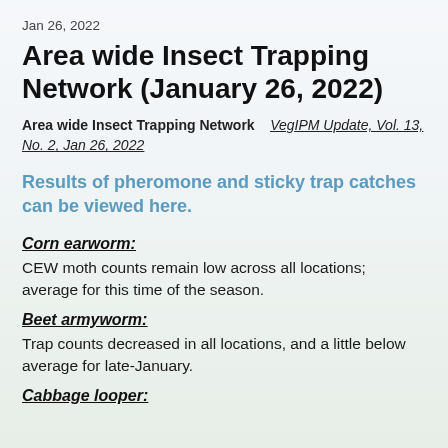Jan 26, 2022
Area wide Insect Trapping Network (January 26, 2022)
Area wide Insect Trapping Network   VegIPM Update, Vol. 13, No. 2, Jan 26, 2022
Results of pheromone and sticky trap catches can be viewed here.
Corn earworm:
CEW moth counts remain low across all locations; average for this time of the season.
Beet armyworm:
Trap counts decreased in all locations, and a little below average for late-January.
Cabbage looper: